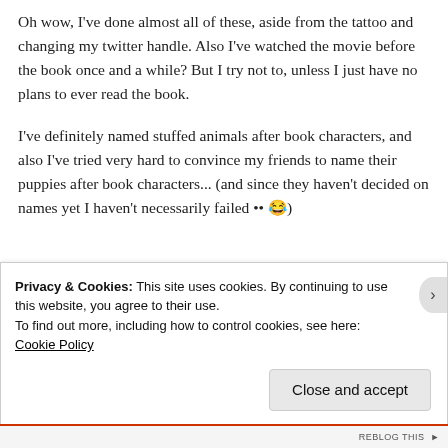Oh wow, I've done almost all of these, aside from the tattoo and changing my twitter handle. Also I've watched the movie before the book once and a while? But I try not to, unless I just have no plans to ever read the book.
I've definitely named stuffed animals after book characters, and also I've tried very hard to convince my friends to name their puppies after book characters... (and since they haven't decided on names yet I haven't necessarily failed •• 😂)
Privacy & Cookies: This site uses cookies. By continuing to use this website, you agree to their use.
To find out more, including how to control cookies, see here: Cookie Policy
Close and accept